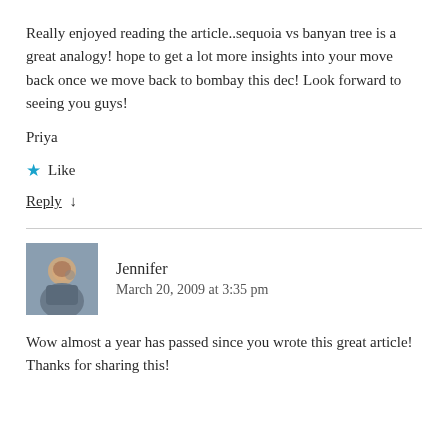Really enjoyed reading the article..sequoia vs banyan tree is a great analogy! hope to get a lot more insights into your move back once we move back to bombay this dec! Look forward to seeing you guys!
Priya
★ Like
Reply ↓
Jennifer
March 20, 2009 at 3:35 pm
Wow almost a year has passed since you wrote this great article! Thanks for sharing this!